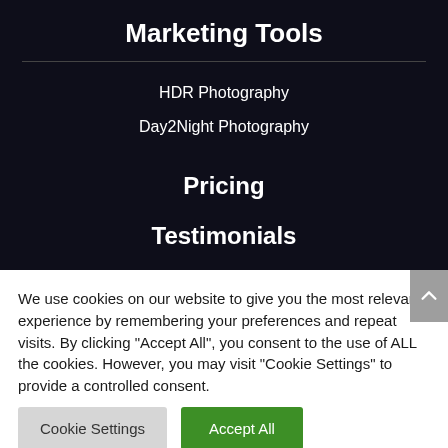Marketing Tools
HDR Photography
Day2Night Photography
Pricing
Testimonials
We use cookies on our website to give you the most relevant experience by remembering your preferences and repeat visits. By clicking “Accept All”, you consent to the use of ALL the cookies. However, you may visit “Cookie Settings” to provide a controlled consent.
Cookie Settings
Accept All